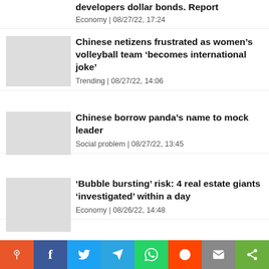developers dollar bonds. Report
Economy | 08/27/22, 17:24
Chinese netizens frustrated as women’s volleyball team ‘becomes international joke’
Trending | 08/27/22, 14:06
Chinese borrow panda’s name to mock leader
Social problem | 08/27/22, 13:45
‘Bubble bursting’ risk: 4 real estate giants ‘investigated’ within a day
Economy | 08/26/22, 14:48
Chinese singer censored for criticizing zero Covid measures